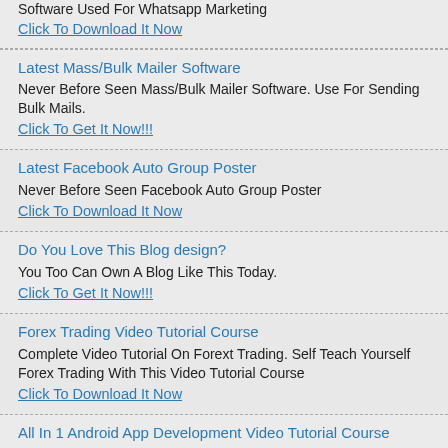Software Used For Whatsapp Marketing
Click To Download It Now
Latest Mass/Bulk Mailer Software
Never Before Seen Mass/Bulk Mailer Software. Use For Sending Bulk Mails.
Click To Get It Now!!!
Latest Facebook Auto Group Poster
Never Before Seen Facebook Auto Group Poster
Click To Download It Now
Do You Love This Blog design?
You Too Can Own A Blog Like This Today.
Click To Get It Now!!!
Forex Trading Video Tutorial Course
Complete Video Tutorial On Forext Trading. Self Teach Yourself Forex Trading With This Video Tutorial Course
Click To Download It Now
All In 1 Android App Development Video Tutorial Course
Complete Video Tutorial Course On How To Create Android Apps. Self Teach Yourself Android App Development With This Video Course
Click To Get It Now!!!